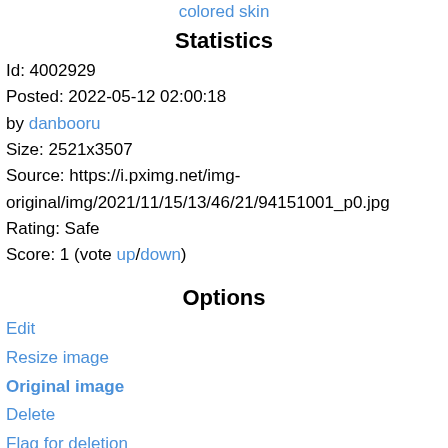colored skin
Statistics
Id: 4002929
Posted: 2022-05-12 02:00:18
by danbooru
Size: 2521x3507
Source: https://i.pximg.net/img-original/img/2021/11/15/13/46/21/94151001_p0.jpg
Rating: Safe
Score: 1 (vote up/down)
Options
Edit
Resize image
Original image
Delete
Flag for deletion
Add Note
Add to favorites
History
Tags
Notes